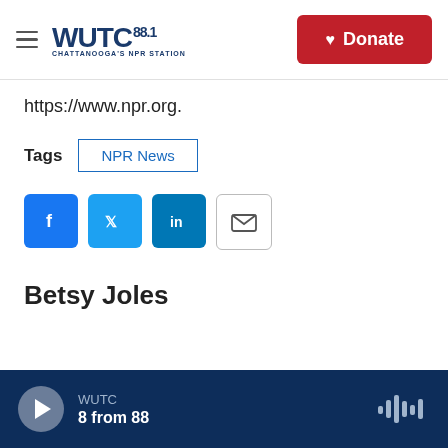WUTC 88.1 Chattanooga's NPR Station | Donate
https://www.npr.org.
Tags: NPR News
[Figure (other): Social sharing icons: Facebook, Twitter, LinkedIn, Email]
Betsy Joles
WUTC | 8 from 88